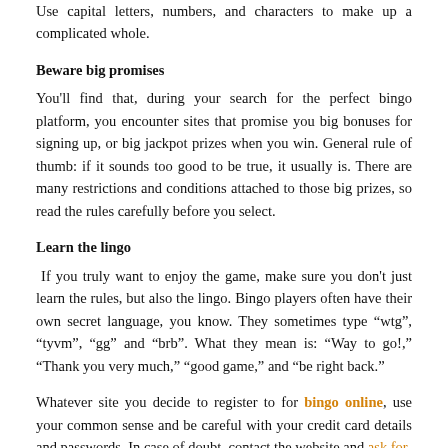Use capital letters, numbers, and characters to make up a complicated whole.
Beware big promises
You'll find that, during your search for the perfect bingo platform, you encounter sites that promise you big bonuses for signing up, or big jackpot prizes when you win. General rule of thumb: if it sounds too good to be true, it usually is. There are many restrictions and conditions attached to those big prizes, so read the rules carefully before you select.
Learn the lingo
If you truly want to enjoy the game, make sure you don't just learn the rules, but also the lingo. Bingo players often have their own secret language, you know. They sometimes type "wtg", "tyvm", "gg" and "brb". What they mean is: "Way to go!," "Thank you very much," "good game," and "be right back."
Whatever site you decide to register to for bingo online, use your common sense and be careful with your credit card details and passwords. In case of doubt, contact the website and ask for